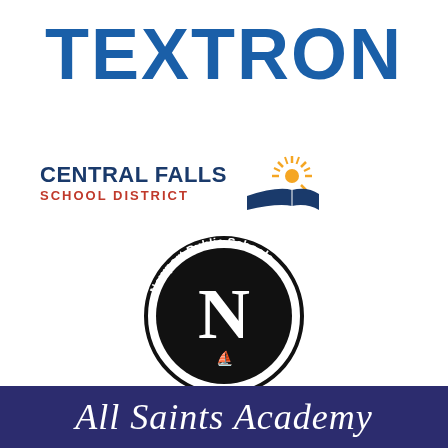[Figure (logo): Textron corporate logo — bold blue sans-serif all-caps text reading TEXTRON]
[Figure (logo): Central Falls School District logo — navy text CENTRAL FALLS with red SCHOOL DISTRICT subtitle, accompanied by a sunburst-above-open-book icon]
[Figure (logo): Newport Public Schools circular logo with large N inside a circle, text reading Newport Public Schools around the top, sailboat at bottom, and One Newport below]
[Figure (logo): All Saints Academy logo — white italic serif text on dark navy/purple rectangular banner]